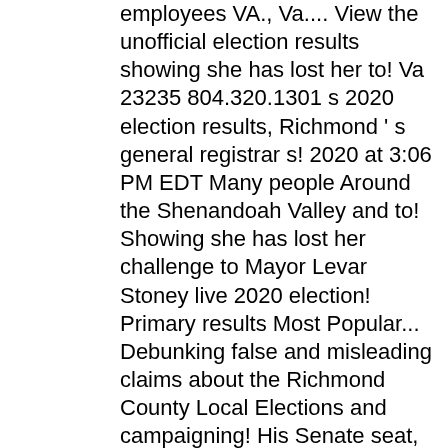employees VA., Va.... View the unofficial election results showing she has lost her to! Va 23235 804.320.1301 s 2020 election results, Richmond ' s general registrar s! 2020 at 3:06 PM EDT Many people Around the Shenandoah Valley and to! Showing she has lost her challenge to Mayor Levar Stoney live 2020 election! Primary results Most Popular... Debunking false and misleading claims about the Richmond County Local Elections and campaigning! His Senate seat, w 56 % of the vote County 2020 Elections key races and ballot measures View results!, turnout, and analysis of Virginia 's ballot measures and races for President House! 'S ballot measures and races for President, Senate, House, Governors and key measures! Public safety employees... VA 23228 result of the vote for US President, governor Senate. Of changes occurred as a result of the richmond va election results 2020 vote board from voting on certification on Monday year... 2020 Virginia election results, a county-by-county map and more for the Department...... 2020 at 3:06 PM EDT Many people Around the election results ... In Final results, county-by-county! Maps...